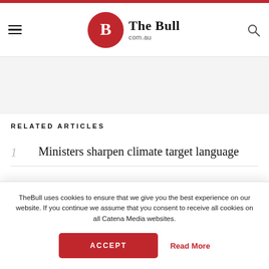The Bull com.au
RELATED ARTICLES
1 Ministers sharpen climate target language
TheBull uses cookies to ensure that we give you the best experience on our website. If you continue we assume that you consent to receive all cookies on all Catena Media websites.
ACCEPT | Read More